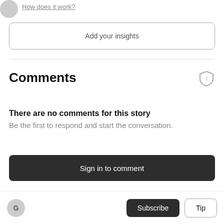How does it work?
Add your insights
Comments
There are no comments for this story
Be the first to respond and start the conversation.
Sign in to comment
Subscribe
Tip